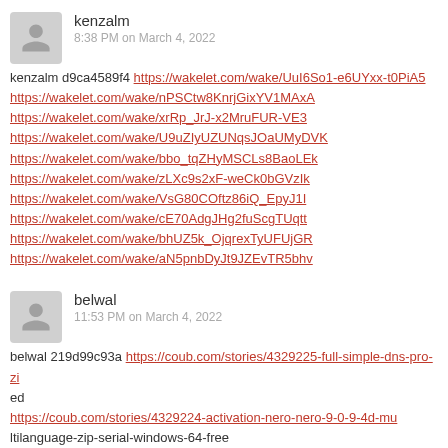kenzalm
8:38 PM on March 4, 2022
kenzalm d9ca4589f4 https://wakelet.com/wake/UuI6So1-e6UYxx-t0PiA5 https://wakelet.com/wake/nPSCtw8KnrjGixYV1MAxA https://wakelet.com/wake/xrRp_JrJ-x2MruFUR-VE3 https://wakelet.com/wake/U9uZIyUZUNqsJOaUMyDVK https://wakelet.com/wake/bbo_tqZHyMSCLs8BaoLEk https://wakelet.com/wake/zLXc9s2xF-weCk0bGVzIk https://wakelet.com/wake/VsG80COftz86iQ_EpyJ1I https://wakelet.com/wake/cE70AdgJHg2fuScgTUqtt https://wakelet.com/wake/bhUZ5k_OjqrexTyUFUjGR https://wakelet.com/wake/aN5pnbDyJt9JZEvTR5bhv
belwal
11:53 PM on March 4, 2022
belwal 219d99c93a https://coub.com/stories/4329225-full-simple-dns-pro-zied https://coub.com/stories/4329224-activation-nero-nero-9-0-9-4d-mu ltilanguage-zip-serial-windows-64-free https://coub.com/stories/4329223-drivers-license-serial-full-vers